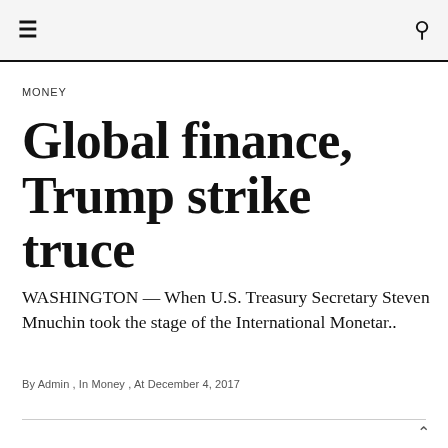≡  🔍
MONEY
Global finance, Trump strike truce
WASHINGTON — When U.S. Treasury Secretary Steven Mnuchin took the stage of the International Monetar..
By Admin , In Money , At December 4, 2017